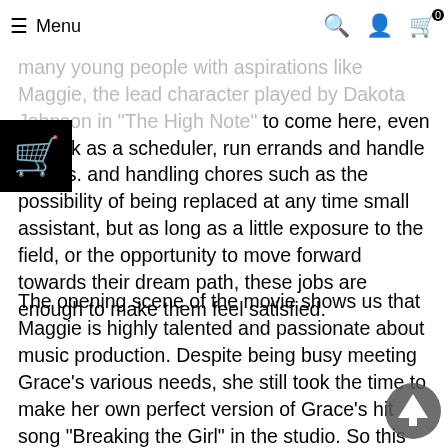Menu | Search | Account | Cart (0)
cultural and entertainment industries such as film and music over the years, it has attracted many young people with aspirations like Maggie, the lead character played by Dakota Johnson in "The High Note" to come here, even to work as a scheduler, run errands and handle chores. and handling chores such as the possibility of being replaced at any time small assistant, but as long as a little exposure to the field, or the opportunity to move forward towards their dream path, these jobs are enough to make them feel satisfied.
The opening scene of the movie shows us that Maggie is highly talented and passionate about music production. Despite being busy meeting Grace's various needs, she still took the time to make her own perfect version of Grace's hit song "Breaking the Girl" in the studio. So this kind of small character, who hides under the halo of a big star and tries to find her way with her own